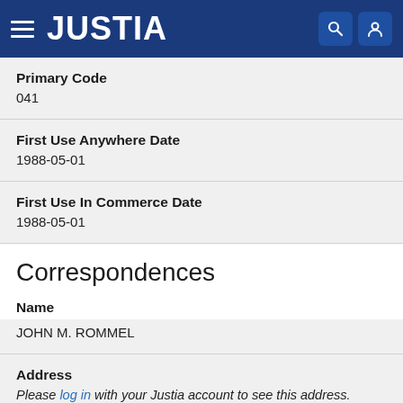JUSTIA
Primary Code
041
First Use Anywhere Date
1988-05-01
First Use In Commerce Date
1988-05-01
Correspondences
Name
JOHN M. ROMMEL
Address
Please log in with your Justia account to see this address.